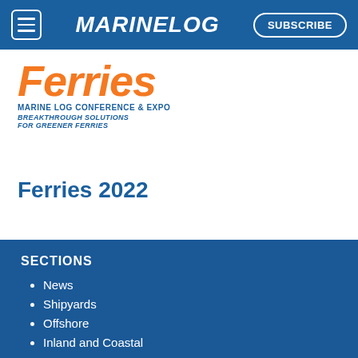MARINELOG | SUBSCRIBE
[Figure (logo): Ferries Marine Log Conference & Expo logo with orange 'Ferries' text, subtitle 'MARINE LOG CONFERENCE & EXPO', tagline 'BREAKTHROUGH SOLUTIONS FOR GREENER FERRIES']
Ferries 2022
SECTIONS
News
Shipyards
Offshore
Inland and Coastal